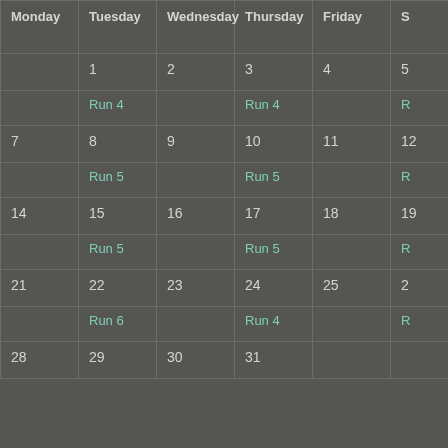| Monday | Tuesday | Wednesday | Thursday | Friday | S… |
| --- | --- | --- | --- | --- | --- |
|  | 1 | 2 | 3 | 4 | 5 |
|  | Run 4 |  | Run 4 |  | R… |
| 7 | 8 | 9 | 10 | 11 | 12… |
|  | Run 5 |  | Run 5 |  | R… |
| 14 | 15 | 16 | 17 | 18 | 19… |
|  | Run 5 |  | Run 5 |  | R… |
| 21 | 22 | 23 | 24 | 25 | 2… |
|  | Run 6 |  | Run 4 |  | R… |
| 28 | 29 | 30 | 31 |  |  |